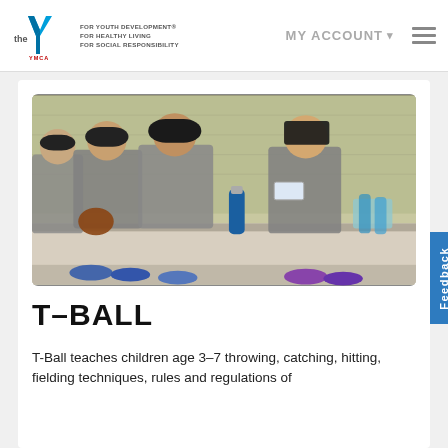YMCA — FOR YOUTH DEVELOPMENT® FOR HEALTHY LIVING FOR SOCIAL RESPONSIBILITY | MY ACCOUNT
[Figure (photo): Young children in YMCA baseball uniforms and caps sitting on a bench in a dugout, wearing name tags, with a baseball glove and water bottles visible]
T-BALL
T-Ball teaches children age 3–7 throwing, catching, hitting, fielding techniques, rules and regulations of